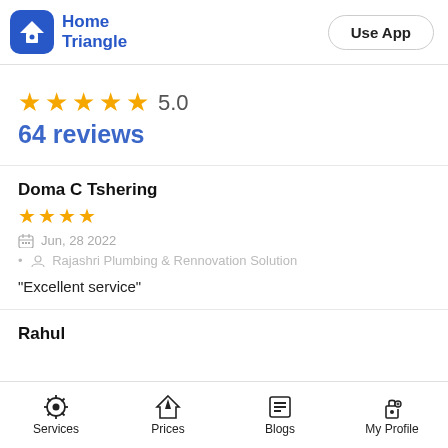Home Triangle | Use App
★★★★★ 5.0
64 reviews
Doma C Tshering
★★★★ Jun, 28 2022 • Rajashri Plumbing & Rennovation Solution
"Excellent service"
Rahul
Services | Prices | Blogs | My Profile